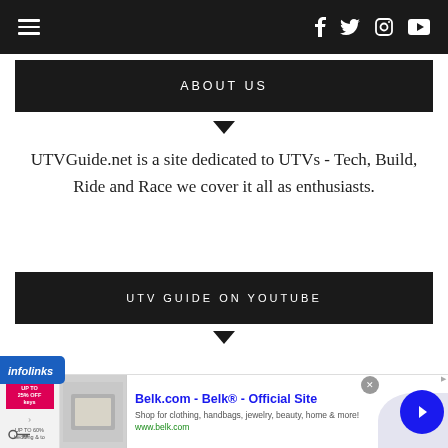Navigation bar with hamburger menu and social icons (Facebook, Twitter, Instagram, YouTube)
ABOUT US
UTVGuide.net is a site dedicated to UTVs - Tech, Build, Ride and Race we cover it all as enthusiasts.
UTV GUIDE ON YOUTUBE
[Figure (screenshot): Infolinks advertisement banner for Belk.com - Official Site showing clothing, handbags, jewelry, beauty, home & more at www.belk.com]